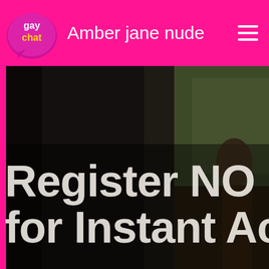Amber jane nude
[Figure (photo): Dark background image of a person standing near a window with outdoor greenery visible, used as hero banner background with overlaid text reading 'Register NO' and 'for Instant Ac']
Register NO for Instant Ac